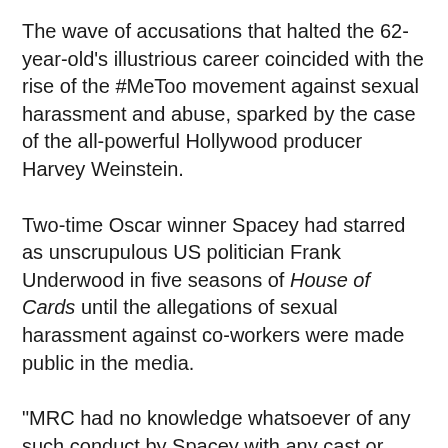The wave of accusations that halted the 62-year-old's illustrious career coincided with the rise of the #MeToo movement against sexual harassment and abuse, sparked by the case of the all-powerful Hollywood producer Harvey Weinstein.
Two-time Oscar winner Spacey had starred as unscrupulous US politician Frank Underwood in five seasons of House of Cards until the allegations of sexual harassment against co-workers were made public in the media.
"MRC had no knowledge whatsoever of any such conduct by Spacey with any cast or crew associated with the show," the company said in its petition.